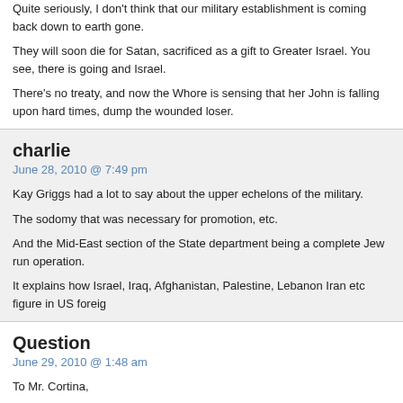Quite seriously, I don't think that our military establishment is coming back down to earth gone.
They will soon die for Satan, sacrificed as a gift to Greater Israel. You see, there is going and Israel.
There's no treaty, and now the Whore is sensing that her John is falling upon hard times, dump the wounded loser.
charlie
June 28, 2010 @ 7:49 pm
Kay Griggs had a lot to say about the upper echelons of the military.
The sodomy that was necessary for promotion, etc.
And the Mid-East section of the State department being a complete Jew run operation.
It explains how Israel, Iraq, Afghanistan, Palestine, Lebanon Iran etc figure in US foreign
Question
June 29, 2010 @ 1:48 am
To Mr. Cortina,